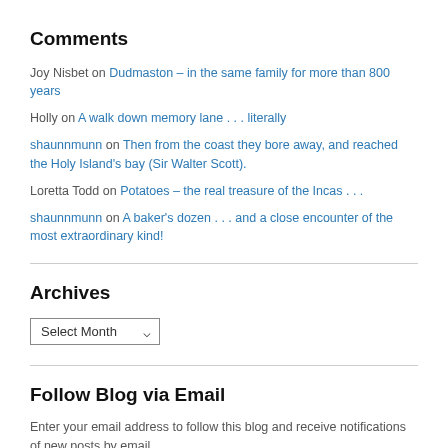Comments
Joy Nisbet on Dudmaston – in the same family for more than 800 years
Holly on A walk down memory lane . . . literally
shaunnmunn on Then from the coast they bore away, and reached the Holy Island's bay (Sir Walter Scott).
Loretta Todd on Potatoes – the real treasure of the Incas . . .
shaunnmunn on A baker's dozen . . . and a close encounter of the most extraordinary kind!
Archives
Select Month
Follow Blog via Email
Enter your email address to follow this blog and receive notifications of new posts by email.